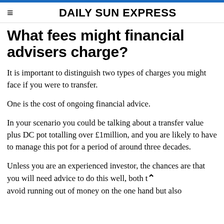DAILY SUN EXPRESS
What fees might financial advisers charge?
It is important to distinguish two types of charges you might face if you were to transfer.
One is the cost of ongoing financial advice.
In your scenario you could be talking about a transfer value plus DC pot totalling over £1million, and you are likely to have to manage this pot for a period of around three decades.
Unless you are an experienced investor, the chances are that you will need advice to do this well, both to avoid running out of money on the one hand but also